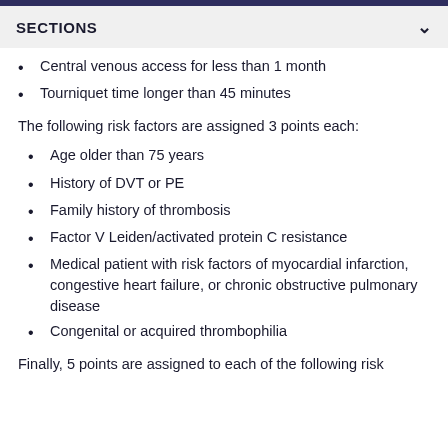SECTIONS
Central venous access for less than 1 month
Tourniquet time longer than 45 minutes
The following risk factors are assigned 3 points each:
Age older than 75 years
History of DVT or PE
Family history of thrombosis
Factor V Leiden/activated protein C resistance
Medical patient with risk factors of myocardial infarction, congestive heart failure, or chronic obstructive pulmonary disease
Congenital or acquired thrombophilia
Finally, 5 points are assigned to each of the following risk